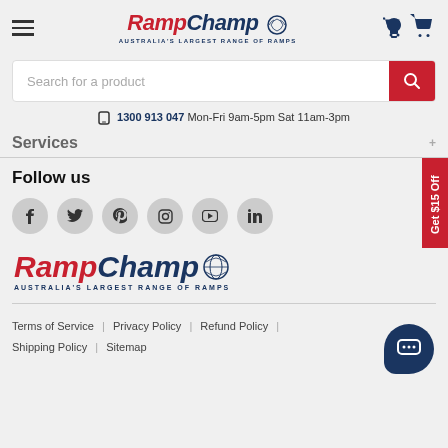RampChamp — Australia's Largest Range of Ramps
Search for a product
1300 913 047 Mon-Fri 9am-5pm Sat 11am-3pm
Services
Follow us
[Figure (logo): RampChamp logo — Australia's Largest Range of Ramps]
Terms of Service | Privacy Policy | Refund Policy | Shipping Policy | Sitemap